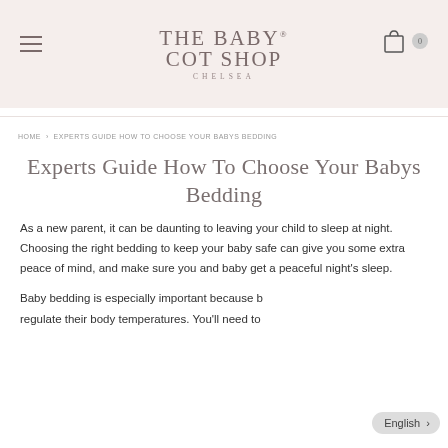THE BABY COT SHOP CHELSEA
HOME > EXPERTS GUIDE HOW TO CHOOSE YOUR BABYS BEDDING
Experts Guide How To Choose Your Babys Bedding
As a new parent, it can be daunting to leaving your child to sleep at night. Choosing the right bedding to keep your baby safe can give you some extra peace of mind, and make sure you and baby get a peaceful night's sleep.
Baby bedding is especially important because b regulate their body temperatures. You'll need to